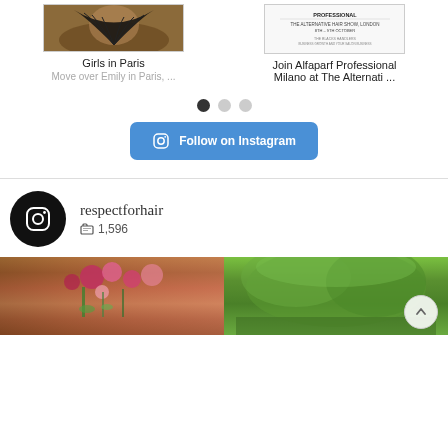[Figure (photo): Photo of a person with a black fan, partial view]
Girls in Paris
Move over Emily in Paris, ...
[Figure (photo): Alfaparf Professional flyer for The Alternative Hair Show, London]
Join Alfaparf Professional Milano at The Alternati ...
[Figure (other): Carousel pagination dots: one dark active, two light inactive]
[Figure (other): Follow on Instagram button with Instagram icon]
[Figure (logo): Instagram logo icon in black circle]
respectforhair
1,596
[Figure (photo): Two Instagram feed photos: floral arrangement on left, green trees on right]